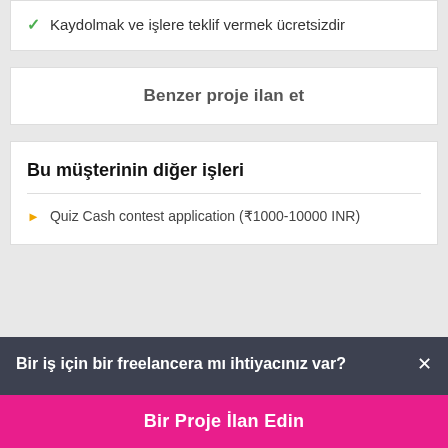Kaydolmak ve işlere teklif vermek ücretsizdir
Benzer proje ilan et
Bu müşterinin diğer işleri
Quiz Cash contest application (₹1000-10000 INR)
Bir iş için bir freelancera mı ihtiyacınız var?
Bir Proje İlan Edin